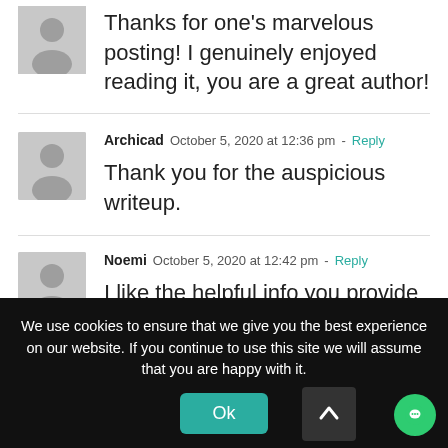Thanks for one's marvelous posting! I genuinely enjoyed reading it, you are a great author!
Archicad  October 5, 2020 at 12:36 pm - Reply
Thank you for the auspicious writeup.
Noemi  October 5, 2020 at 12:42 pm - Reply
I like the helpful info you provide
We use cookies to ensure that we give you the best experience on our website. If you continue to use this site we will assume that you are happy with it.